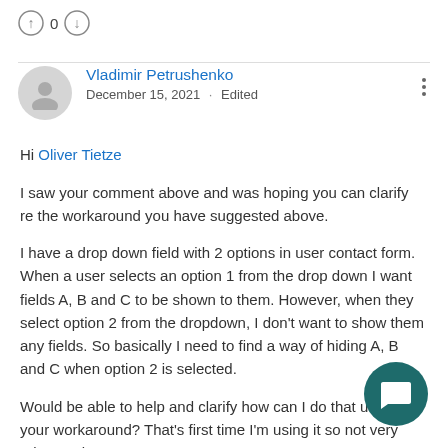↑ 0 ↓
Vladimir Petrushenko
December 15, 2021 · Edited
Hi Oliver Tietze
I saw your comment above and was hoping you can clarify re the workaround you have suggested above.
I have a drop down field with 2 options in user contact form. When a user selects an option 1 from the drop down I want fields A, B and C to be shown to them. However, when they select option 2 from the dropdown, I don't want to show them any fields. So basically I need to find a way of hiding A, B and C when option 2 is selected.
Would be able to help and clarify how can I do that using your workaround? That's first time I'm using it so not very advanced